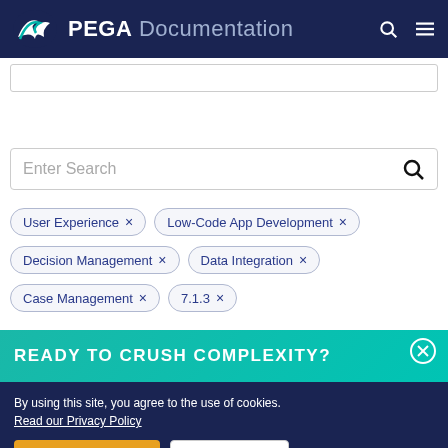PEGA Documentation
[Figure (screenshot): Partial search bar at top of page, cut off]
[Figure (screenshot): Search input box with placeholder text 'Enter Search' and magnifying glass icon]
User Experience ×
Low-Code App Development ×
Decision Management ×
Data Integration ×
Case Management ×
7.1.3 ×
READY TO CRUSH COMPLEXITY?
By using this site, you agree to the use of cookies. Read our Privacy Policy
Accept and continue
About cookies